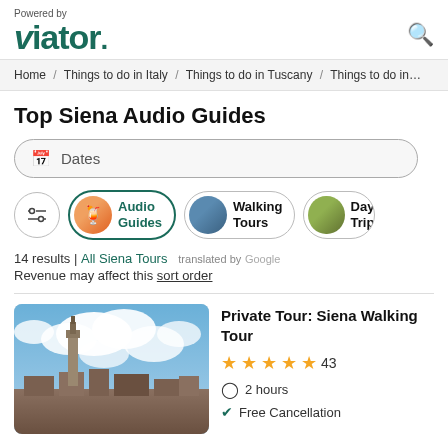Powered by viator.
Home / Things to do in Italy / Things to do in Tuscany / Things to do in…
Top Siena Audio Guides
Dates
Audio Guides
Walking Tours
Day Trip
14 results | All Siena Tours   translated by Google
Revenue may affect this sort order
Private Tour: Siena Walking Tour
★★★★★ 43
⏱ 2 hours
✓ Free Cancellation